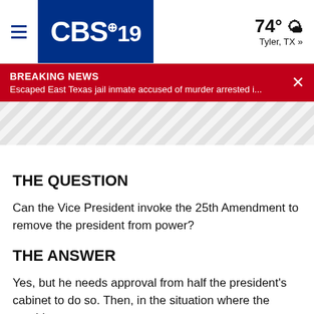CBS 19 | 74° Tyler, TX »
BREAKING NEWS
Escaped East Texas jail inmate accused of murder arrested i...
[Figure (other): Diagonal striped ad/banner placeholder area]
THE QUESTION
Can the Vice President invoke the 25th Amendment to remove the president from power?
THE ANSWER
Yes, but he needs approval from half the president's cabinet to do so. Then, in the situation where the president